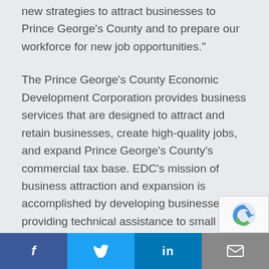new strategies to attract businesses to Prince George's County and to prepare our workforce for new job opportunities."
The Prince George's County Economic Development Corporation provides business services that are designed to attract and retain businesses, create high-quality jobs, and expand Prince George's County's commercial tax base. EDC's mission of business attraction and expansion is accomplished by developing businesses, providing technical assistance to small business services, cultivating international businesses, offering workforce services, and planning effective marketing/communications strategies.
About Jim Coleman
f  Twitter  in  Email